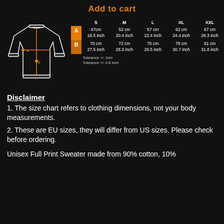Add to cart
[Figure (illustration): Line drawing of a unisex sweater/sweatshirt with orange measurement lines overlaid showing A (chest width) and B (body length) dimensions.]
|  | S | M | L | XL | XXL |
| --- | --- | --- | --- | --- | --- |
| A | 47cm
18.5 inch | 52 cm
20.4 inch | 57 cm
22.4 inch | 62 cm
24.4 inch | 67 cm
26.3 inch |
| B | 70 cm
27.5 inch | 72 cm
28.3 inch | 75 cm
29.5 inch | 78 cm
30.7 inch | 81 cm
31.8 inch |
| Tolerance | Tolerance +/- 2cm
Tolerance +/- 0.8 inch |  |  |  |  |
Disclaimer
1. The size chart refers to clothing dimensions, not your body measurements.
2. These are EU sizes, they will differ from US sizes. Please check before ordering.
Unisex Full Print Sweater made from 90% cotton, 10%